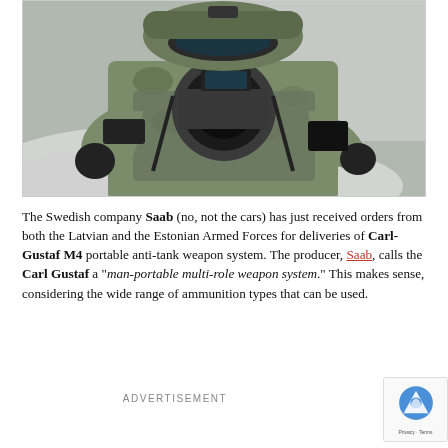[Figure (photo): A soldier in camouflage gear and tactical equipment aiming a Carl-Gustaf recoilless rifle launcher, surrounded by smoke, photographed from the front]
The Swedish company Saab (no, not the cars) has just received orders from both the Latvian and the Estonian Armed Forces for deliveries of Carl-Gustaf M4 portable anti-tank weapon system. The producer, Saab, calls the Carl Gustaf a "man-portable multi-role weapon system." This makes sense, considering the wide range of ammunition types that can be used.
ADVERTISEMENT